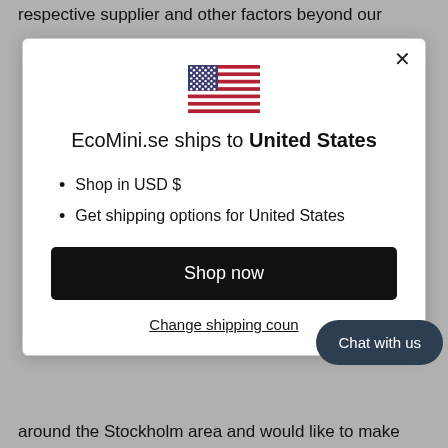respective supplier and other factors beyond our
[Figure (illustration): Modal dialog box showing EcoMini.se ships to United States, with US flag, bullet points about shopping in USD and shipping options, a Shop now button, and a Change shipping country link. A dark Chat with us button is overlapping the bottom right of the modal.]
around the Stockholm area and would like to make